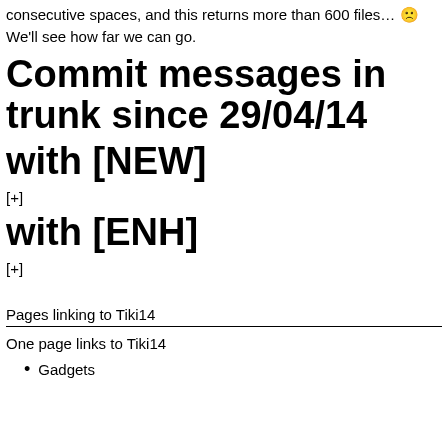consecutive spaces, and this returns more than 600 files… 🙁
We'll see how far we can go.
Commit messages in trunk since 29/04/14
with [NEW]
[+]
with [ENH]
[+]
Pages linking to Tiki14
One page links to Tiki14
Gadgets